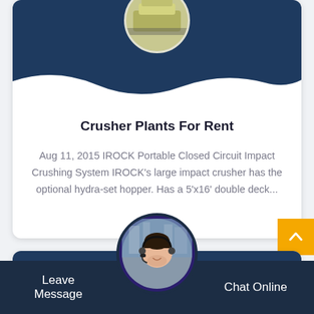[Figure (photo): Product image of crusher equipment at top of card, circular cropped, shown against dark blue background with wave curve]
Crusher Plants For Rent
Aug 11, 2015 IROCK Portable Closed Circuit Impact Crushing System IROCK's large impact crusher has the optional hydra-set hopper. Has a 5'x16' double deck...
[Figure (photo): Chat support avatar — woman with headset in circular frame with purple border, partially overlapping bottom chat bar, industrial background]
Leave Message     Chat Online